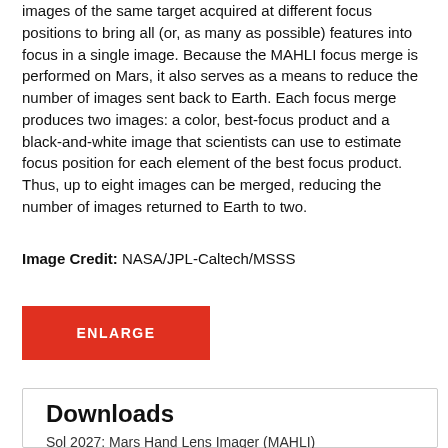images of the same target acquired at different focus positions to bring all (or, as many as possible) features into focus in a single image. Because the MAHLI focus merge is performed on Mars, it also serves as a means to reduce the number of images sent back to Earth. Each focus merge produces two images: a color, best-focus product and a black-and-white image that scientists can use to estimate focus position for each element of the best focus product. Thus, up to eight images can be merged, reducing the number of images returned to Earth to two.
Image Credit: NASA/JPL-Caltech/MSSS
[Figure (other): ENLARGE button - red rectangular button with white bold text]
Downloads
Sol 2027: Mars Hand Lens Imager (MAHLI)